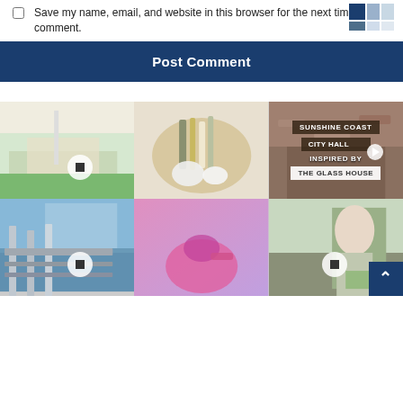Save my name, email, and website in this browser for the next time I comment.
[Figure (screenshot): Post Comment button on a dark navy blue background]
[Figure (photo): Grid of 6 Instagram-style photos: outdoor dining area, eco-friendly utensils bag, Sunshine Coast City Hall inspired by The Glass House video thumbnail, waterway dock, woman in pink exercising, woman reading outdoors]